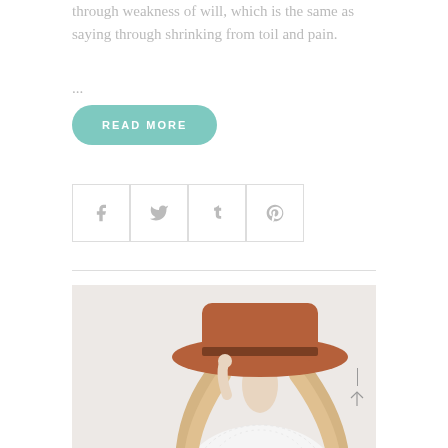through weakness of will, which is the same as saying through shrinking from toil and pain.
...
READ MORE
[Figure (illustration): Four social media share icon buttons (Facebook, Twitter, Tumblr, Pinterest) arranged horizontally, each in a square box with light grey border.]
[Figure (photo): A woman wearing a wide-brim rust/terracotta felt hat and white lace top, with long blonde hair, posed with head tilted down so the hat covers her face. Light grey background.]